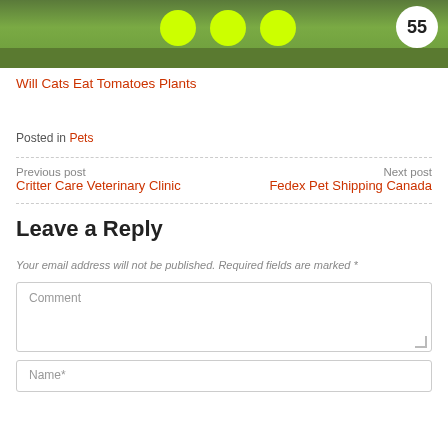[Figure (photo): Grass field background with yellow/green tennis balls and a white ball with number 55 in the upper right]
Will Cats Eat Tomatoes Plants
Posted in Pets
Previous post
Critter Care Veterinary Clinic
Next post
Fedex Pet Shipping Canada
Leave a Reply
Your email address will not be published. Required fields are marked *
Comment
Name*